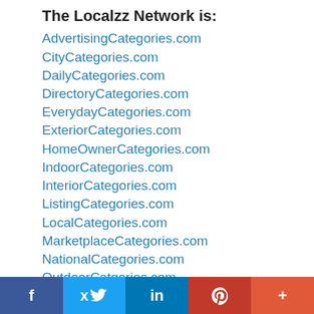The Localzz Network is:
AdvertisingCategories.com
CityCategories.com
DailyCategories.com
DirectoryCategories.com
EverydayCategories.com
ExteriorCategories.com
HomeOwnerCategories.com
IndoorCategories.com
InteriorCategories.com
ListingCategories.com
LocalCategories.com
MarketplaceCategories.com
NationalCategories.com
OutdoorCatgories.com
ProjectCategories.com
RemodelCategories.com
RenovationCategories.com
[Figure (infographic): Social media share bar with Facebook, Twitter, LinkedIn, Pinterest, and More (+) buttons]